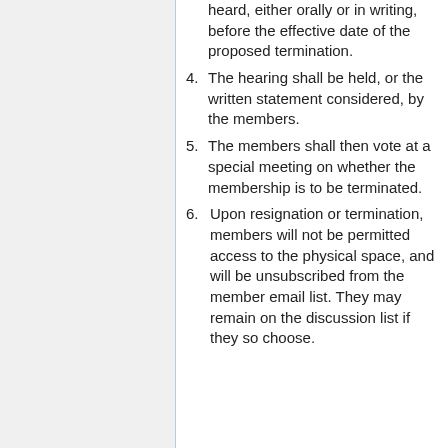(continuation) heard, either orally or in writing, before the effective date of the proposed termination.
4. The hearing shall be held, or the written statement considered, by the members.
5. The members shall then vote at a special meeting on whether the membership is to be terminated.
6. Upon resignation or termination, members will not be permitted access to the physical space, and will be unsubscribed from the member email list. They may remain on the discussion list if they so choose.